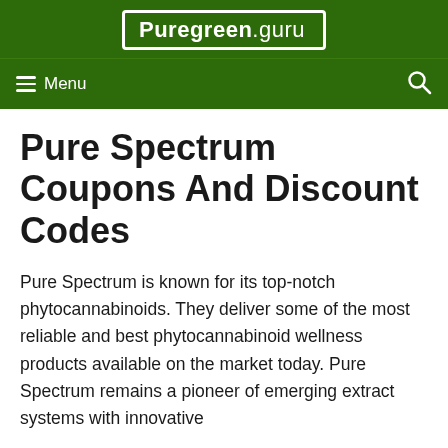Puregreen.guru
Menu
Pure Spectrum Coupons And Discount Codes
Pure Spectrum is known for its top-notch phytocannabinoids. They deliver some of the most reliable and best phytocannabinoid wellness products available on the market today. Pure Spectrum remains a pioneer of emerging extract systems with innovative